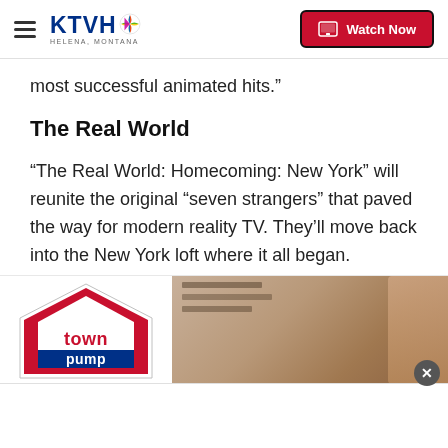KTVH Helena, Montana — Watch Now
most successful animated hits.”
The Real World
“The Real World: Homecoming: New York” will reunite the original “seven strangers” that paved the way for modern reality TV. They’ll move back into the New York loft where it all began.
ADVERTISEMENT
[Figure (photo): Town Pump advertisement banner with logo on left and a photo on the right showing a person near shelves]